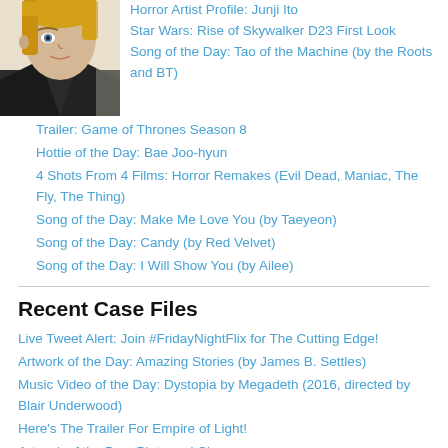[Figure (illustration): Partial face/profile illustration of a blonde figure in dark clothing, appearing to be anime or manga art style]
Horror Artist Profile: Junji Ito
Star Wars: Rise of Skywalker D23 First Look
Song of the Day: Tao of the Machine (by the Roots and BT)
Trailer: Game of Thrones Season 8
Hottie of the Day: Bae Joo-hyun
4 Shots From 4 Films: Horror Remakes (Evil Dead, Maniac, The Fly, The Thing)
Song of the Day: Make Me Love You (by Taeyeon)
Song of the Day: Candy (by Red Velvet)
Song of the Day: I Will Show You (by Ailee)
Recent Case Files
Live Tweet Alert: Join #FridayNightFlix for The Cutting Edge!
Artwork of the Day: Amazing Stories (by James B. Settles)
Music Video of the Day: Dystopia by Megadeth (2016, directed by Blair Underwood)
Here's The Trailer For Empire of Light!
Artwork of the Day: Pluto and Charon